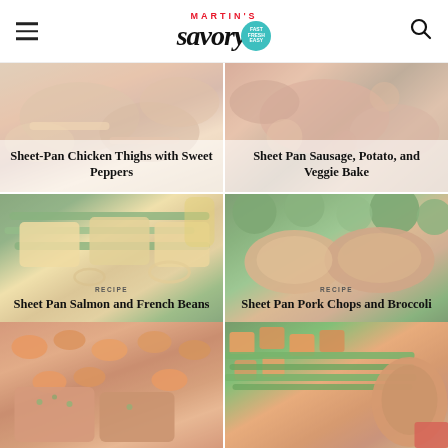Martin's Savory - Fast Fresh Easy
[Figure (photo): Sheet-Pan Chicken Thighs with Sweet Peppers recipe card with food photo background]
Sheet-Pan Chicken Thighs with Sweet Peppers
[Figure (photo): Sheet Pan Sausage, Potato, and Veggie Bake recipe card with food photo background]
Sheet Pan Sausage, Potato, and Veggie Bake
[Figure (photo): Sheet Pan Salmon and French Beans recipe card with food photo background]
RECIPE - Sheet Pan Salmon and French Beans
[Figure (photo): Sheet Pan Pork Chops and Broccoli recipe card with food photo background]
RECIPE - Sheet Pan Pork Chops and Broccoli
[Figure (photo): Salmon with carrots recipe card, food photo background, partially visible]
[Figure (photo): Chicken with vegetables recipe card, food photo background, partially visible]